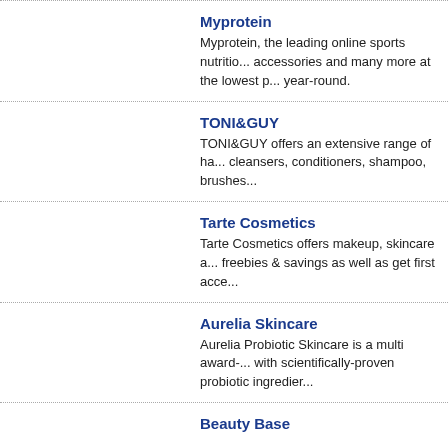Myprotein
Myprotein, the leading online sports nutrition, accessories and many more at the lowest prices year-round.
TONI&GUY
TONI&GUY offers an extensive range of hair cleansers, conditioners, shampoo, brushes...
Tarte Cosmetics
Tarte Cosmetics offers makeup, skincare and freebies & savings as well as get first access...
Aurelia Skincare
Aurelia Probiotic Skincare is a multi award-winning skincare with scientifically-proven probiotic ingredients...
Beauty Base